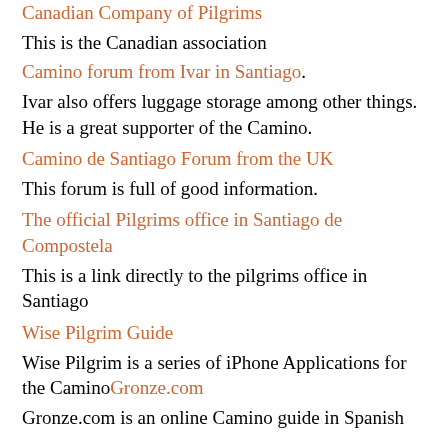Canadian Company of Pilgrims
This is the Canadian association
Camino forum from Ivar in Santiago.
Ivar also offers luggage storage among other things. He is a great supporter of the Camino.
Camino de Santiago Forum from the UK
This forum is full of good information.
The official Pilgrims office in Santiago de Compostela
This is a link directly to the pilgrims office in Santiago
Wise Pilgrim Guide
Wise Pilgrim is a series of iPhone Applications for the Camino
Gronze.com
Gronze.com is an online Camino guide in Spanish